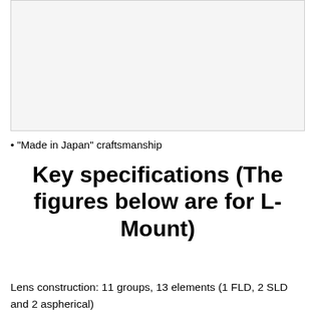[Figure (photo): Large image placeholder area at the top of the page (appears light gray/blank in this cropped view)]
• “Made in Japan” craftsmanship
Key specifications (The figures below are for L-Mount)
Lens construction: 11 groups, 13 elements (1 FLD, 2 SLD and 2 aspherical)